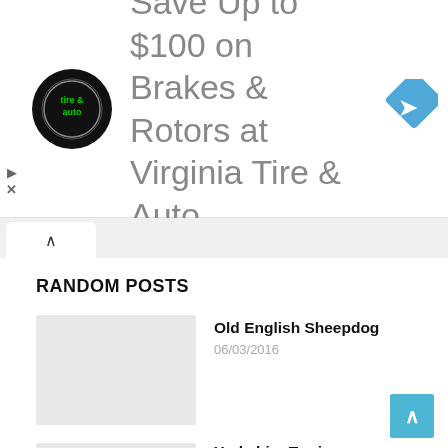[Figure (other): Advertisement banner for Virginia Tire & Auto: Save Up to $100 on Brakes & Rotors at Virginia Tire & Auto]
RANDOM POSTS
Old English Sheepdog
06/03/2016
Yorkshire Terrier
10/05/2016
Male Dog Names with D
20/06/2016